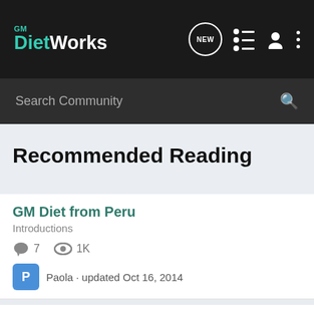GM DietWorks
Recommended Reading
GM Diet from Peru
Introductions
7 comments · 1K views
Paola · updated Oct 16, 2014
1st timer in diet plan
Getting Started With GM Diet
9 comments · 2K views